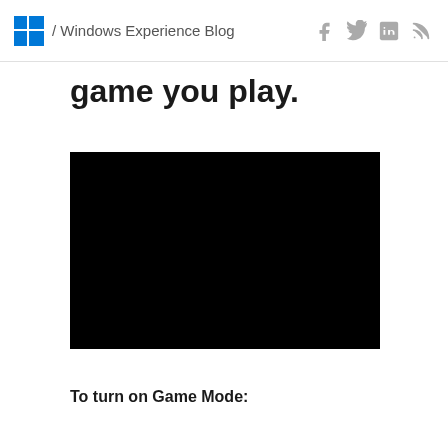/ Windows Experience Blog
game you play.
[Figure (screenshot): Black video player embed area]
To turn on Game Mode: